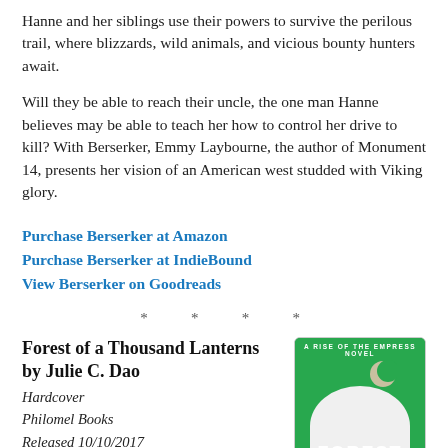Hanne and her siblings use their powers to survive the perilous trail, where blizzards, wild animals, and vicious bounty hunters await.
Will they be able to reach their uncle, the one man Hanne believes may be able to teach her how to control her drive to kill? With Berserker, Emmy Laybourne, the author of Monument 14, presents her vision of an American west studded with Viking glory.
Purchase Berserker at Amazon
Purchase Berserker at IndieBound
View Berserker on Goodreads
* * * *
Forest of a Thousand Lanterns
by Julie C. Dao
Hardcover
Philomel Books
Released 10/10/2017
[Figure (photo): Book cover of 'Forest of a Thousand Lanterns' - A Rise of the Empress novel, with green background, white cloud/mountain shapes, crescent moon, and 'FOREST' text at bottom]